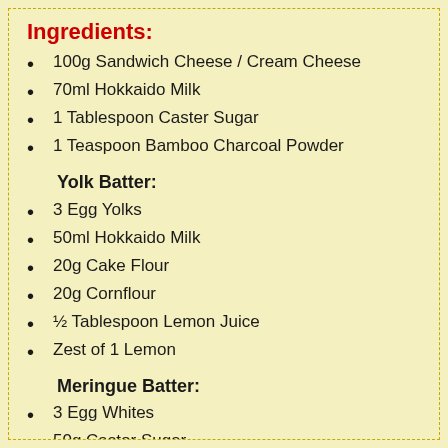Ingredients:
100g Sandwich Cheese / Cream Cheese
70ml Hokkaido Milk
1 Tablespoon Caster Sugar
1 Teaspoon Bamboo Charcoal Powder
Yolk Batter:
3 Egg Yolks
50ml Hokkaido Milk
20g Cake Flour
20g Cornflour
½ Tablespoon Lemon Juice
Zest of 1 Lemon
Meringue Batter:
3 Egg Whites
50g Castor Sugar